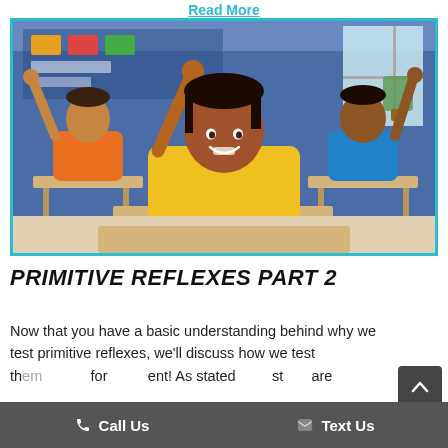Read More
[Figure (photo): Three elementary school children sitting at desks in a classroom, raising their hands. The central child is a smiling girl in a yellow shirt; to the left is a boy in an orange shirt; to the right is a boy in a blue shirt. The classroom background shows a blue wall with decorations and a window.]
PRIMITIVE REFLEXES PART 2
Now that you have a basic understanding behind why we test primitive reflexes, we'll discuss how we test th[em] for [each] ent! As stated [that mo]st [are]